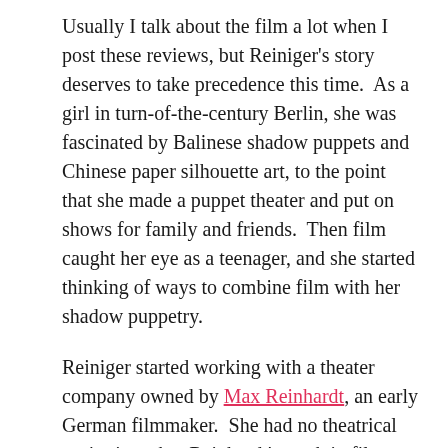Usually I talk about the film a lot when I post these reviews, but Reiniger's story deserves to take precedence this time.  As a girl in turn-of-the-century Berlin, she was fascinated by Balinese shadow puppets and Chinese paper silhouette art, to the point that she made a puppet theater and put on shows for family and friends.  Then film caught her eye as a teenager, and she started thinking of ways to combine film with her shadow puppetry.
Reiniger started working with a theater company owned by Max Reinhardt, an early German filmmaker.  She had no theatrical aspirations, but Reinhardt's work in film drew Reiniger's eye.  She ended up working closely with company member Paul Wegener, another actor-turned-filmmaker; Wegener first called on her to create silhouettes for the title cards for his films, then